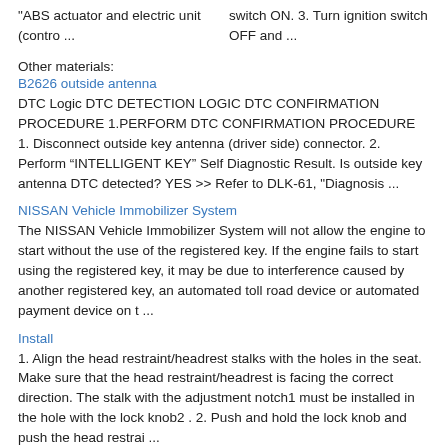“ABS actuator and electric unit (contro ...
switch ON. 3. Turn ignition switch OFF and ...
Other materials:
B2626 outside antenna
DTC Logic DTC DETECTION LOGIC DTC CONFIRMATION PROCEDURE 1.PERFORM DTC CONFIRMATION PROCEDURE 1. Disconnect outside key antenna (driver side) connector. 2. Perform “INTELLIGENT KEY” Self Diagnostic Result. Is outside key antenna DTC detected? YES >> Refer to DLK-61, "Diagnosis ...
NISSAN Vehicle Immobilizer System
The NISSAN Vehicle Immobilizer System will not allow the engine to start without the use of the registered key. If the engine fails to start using the registered key, it may be due to interference caused by another registered key, an automated toll road device or automated payment device on t ...
Install
1. Align the head restraint/headrest stalks with the holes in the seat. Make sure that the head restraint/headrest is facing the correct direction. The stalk with the adjustment notch1 must be installed in the hole with the lock knob2 . 2. Push and hold the lock knob and push the head restrai ...